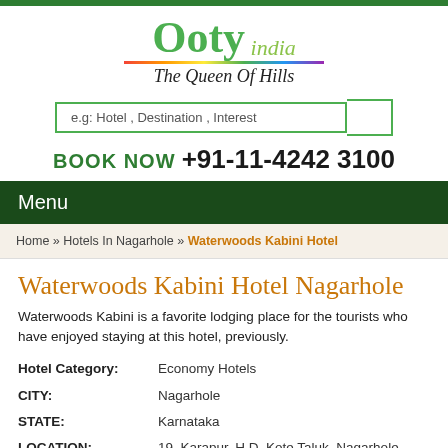[Figure (logo): Ooty India - The Queen Of Hills logo with green text and rainbow underline]
e.g: Hotel , Destination , Interest
BOOK NOW +91-11-4242 3100
Menu
Home » Hotels In Nagarhole » Waterwoods Kabini Hotel
Waterwoods Kabini Hotel Nagarhole
Waterwoods Kabini is a favorite lodging place for the tourists who have enjoyed staying at this hotel, previously.
| Field | Value |
| --- | --- |
| Hotel Category: | Economy Hotels |
| CITY: | Nagarhole |
| STATE: | Karnataka |
| LOCATION: | 19, Karapur, H.D. Kote Taluk, Nagarhole - 571114, |